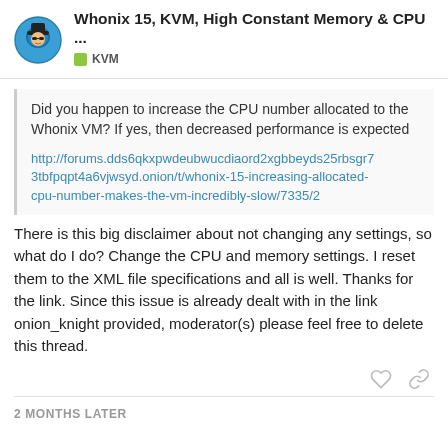Whonix 15, KVM, High Constant Memory & CPU ... | KVM
Did you happen to increase the CPU number allocated to the Whonix VM? If yes, then decreased performance is expected

http://forums.dds6qkxpwdeubwucdiaord2xgbbeyds25rbsgr73tbfpqpt4a6vjwsyd.onion/t/whonix-15-increasing-allocated-cpu-number-makes-the-vm-incredibly-slow/7335/2
There is this big disclaimer about not changing any settings, so what do I do? Change the CPU and memory settings. I reset them to the XML file specifications and all is well. Thanks for the link. Since this issue is already dealt with in the link onion_knight provided, moderator(s) please feel free to delete this thread.
2 MONTHS LATER